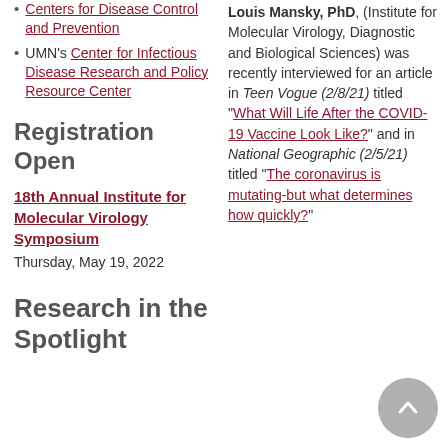Centers for Disease Control and Prevention
UMN's Center for Infectious Disease Research and Policy Resource Center
Registration Open
18th Annual Institute for Molecular Virology Symposium
Thursday, May 19, 2022
Research in the Spotlight
Louis Mansky, PhD, (Institute for Molecular Virology, Diagnostic and Biological Sciences) was recently interviewed for an article in Teen Vogue (2/8/21) titled “What Will Life After the COVID-19 Vaccine Look Like?” and in National Geographic (2/5/21) titled “The coronavirus is mutating-but what determines how quickly?”